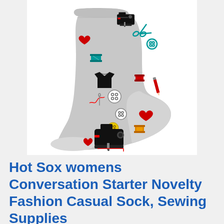[Figure (photo): A gray ankle sock with a sewing-themed novelty pattern featuring sewing machines, scissors, buttons, thread spools, hearts, and needles in red, black, teal, and yellow colors on a gray background.]
Hot Sox womens Conversation Starter Novelty Fashion Casual Sock, Sewing Supplies